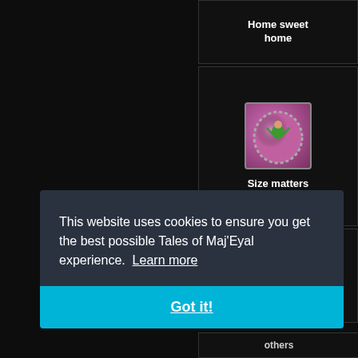[Figure (screenshot): Dark game UI panel showing 'Home sweet home' achievement title at top]
[Figure (screenshot): Dark game UI panel showing a pink egg achievement icon with a figure inside, labeled 'Size matters']
[Figure (screenshot): Dark game UI panel showing a blue egg/orb achievement icon, partially visible, with 'others' text cut off]
This website uses cookies to ensure you get the best possible Tales of Maj'Eyal experience. Learn more
Got it!